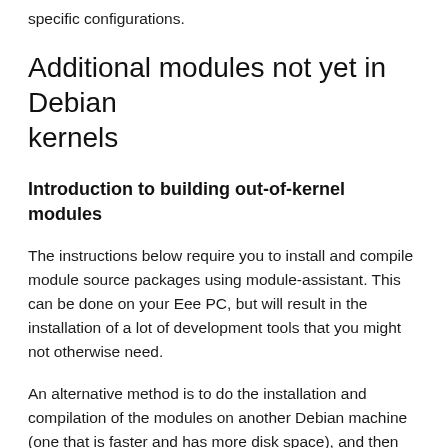specific configurations.
Additional modules not yet in Debian kernels
Introduction to building out-of-kernel modules
The instructions below require you to install and compile module source packages using module-assistant. This can be done on your Eee PC, but will result in the installation of a lot of development tools that you might not otherwise need.
An alternative method is to do the installation and compilation of the modules on another Debian machine (one that is faster and has more disk space), and then install the resulting module packages on the Eee PC.